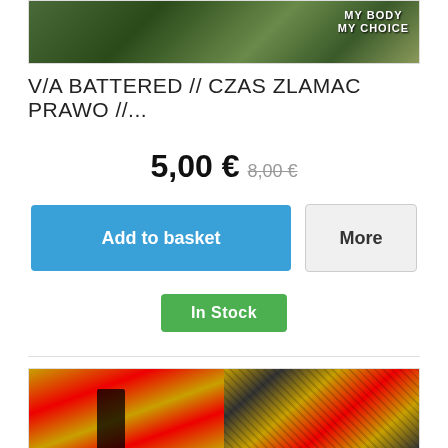[Figure (photo): Top cropped album/zine cover image with green and dark tones, partially visible text 'MY BODY MY CHOICE' in upper right]
V/A BATTERED // CZAS ZLAMAC PRAWO //...
5,00 € 8,00 €
Add to basket
More
In Stock
[Figure (photo): Bottom album cover image split in two halves: left side shows yellow and red tones with a dark silhouetted figure, right side shows abstract yellow, red, and black mixed artwork]